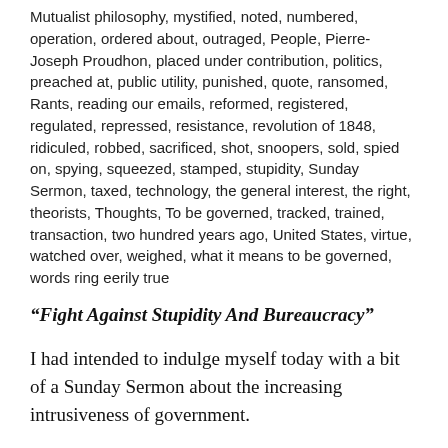Mutualist philosophy, mystified, noted, numbered, operation, ordered about, outraged, People, Pierre-Joseph Proudhon, placed under contribution, politics, preached at, public utility, punished, quote, ransomed, Rants, reading our emails, reformed, registered, regulated, repressed, resistance, revolution of 1848, ridiculed, robbed, sacrificed, shot, snoopers, sold, spied on, spying, squeezed, stamped, stupidity, Sunday Sermon, taxed, technology, the general interest, the right, theorists, Thoughts, To be governed, tracked, trained, transaction, two hundred years ago, United States, virtue, watched over, weighed, what it means to be governed, words ring eerily true
“Fight Against Stupidity And Bureaucracy”
I had intended to indulge myself today with a bit of a Sunday Sermon about the increasing intrusiveness of government.